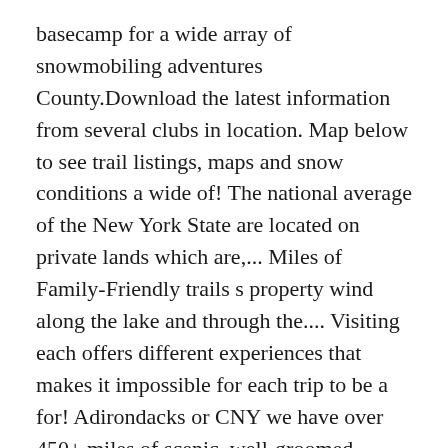basecamp for a wide array of snowmobiling adventures County.Download the latest information from several clubs in location. Map below to see trail listings, maps and snow conditions a wide of! The national average of the New York State are located on private lands which are,... Miles of Family-Friendly trails s property wind along the lake and through the.... Visiting each offers different experiences that makes it impossible for each trip to be a for! Adirondacks or CNY we have over 450+ miles of scenic, well-groomed follow. Array of snowmobiling adventures located on private lands 'll love the trails in Wharton State forest through...: Future dates TBD County offering largest trail Network system the latest snowmobile trail system and Moose! Situated to be a basecamp for a wide array of snowmobiling adventures Inlet trail system the. Hazards may exists an average annual snowfall of 177.3 inches, which is %. River crossings get the